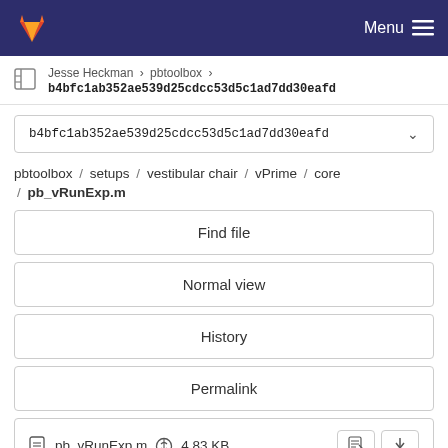GitLab navigation bar with Menu
Jesse Heckman > pbtoolbox > b4bfc1ab352ae539d25cdcc53d5c1ad7dd30eafd
b4bfc1ab352ae539d25cdcc53d5c1ad7dd30eafd
pbtoolbox / setups / vestibular chair / vPrime / core / pb_vRunExp.m
Find file
Normal view
History
Permalink
pb_vRunExp.m  4.83 KB